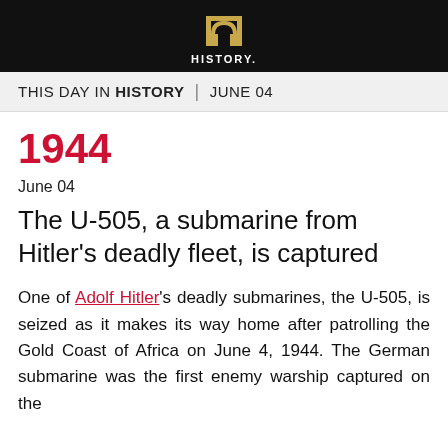[Figure (logo): History Channel logo — gold arch icon with HISTORY text below on black background]
THIS DAY IN HISTORY | JUNE 04
1944
June 04
The U-505, a submarine from Hitler's deadly fleet, is captured
One of Adolf Hitler's deadly submarines, the U-505, is seized as it makes its way home after patrolling the Gold Coast of Africa on June 4, 1944. The German submarine was the first enemy warship captured on the